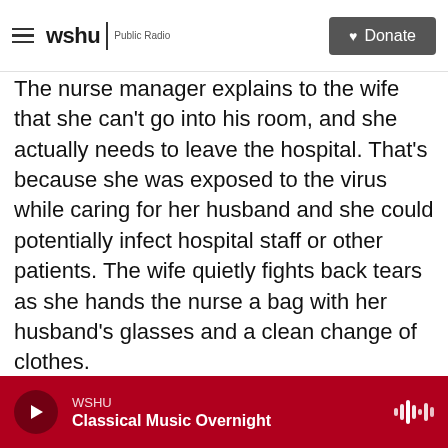wshu | Public Radio  Donate
The nurse manager explains to the wife that she can't go into his room, and she actually needs to leave the hospital. That's because she was exposed to the virus while caring for her husband and she could potentially infect hospital staff or other patients. The wife quietly fights back tears as she hands the nurse a bag with her husband's glasses and a clean change of clothes.
"Does he have a cell phone?" the nurse manager asks, "The nurses, they can help him do FaceTime so you can talk to him, okay?"
The nurse manager adds: "I'm sorry."
WSHU  Classical Music Overnight